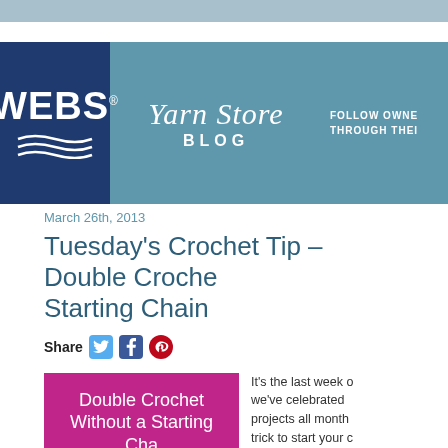WEBS Yarn Store Blog
March 26th, 2013
Tuesday's Crochet Tip – Double Crochet Without a Starting Chain
Share
[Figure (illustration): Magenta/pink promotional graphic with white text reading 'Double Crochet Without a Starting Chain']
It's the last week of... we've celebrated... projects all month... trick to start your c...